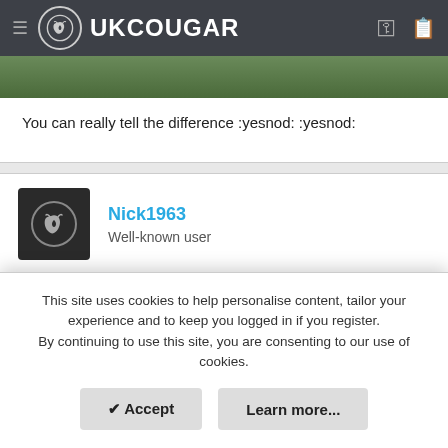UKCOUGAR
You can really tell the difference :yesnod: :yesnod:
Nick1963
Well-known user
Nov 21, 2009  #9
Ian :frown2: and I thought you were gonna try it yerself 😆.
This site uses cookies to help personalise content, tailor your experience and to keep you logged in if you register. By continuing to use this site, you are consenting to our use of cookies.